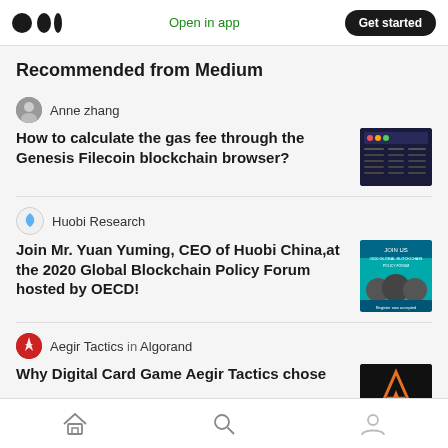Medium logo | Open in app | Get started
Recommended from Medium
Anne zhang
How to calculate the gas fee through the Genesis Filecoin blockchain browser?
[Figure (screenshot): Screenshot thumbnail of a dark-themed table/spreadsheet interface]
Huobi Research
Join Mr. Yuan Yuming, CEO of Huobi China,at the 2020 Global Blockchain Policy Forum hosted by OECD!
[Figure (photo): Promotional event banner for 2020 Global Blockchain Policy Forum with speaker photos]
Aegir Tactics in Algorand
Why Digital Card Game Aegir Tactics chose
[Figure (logo): Aegir Tactics logo on dark background with orange A symbol and AEGIR text]